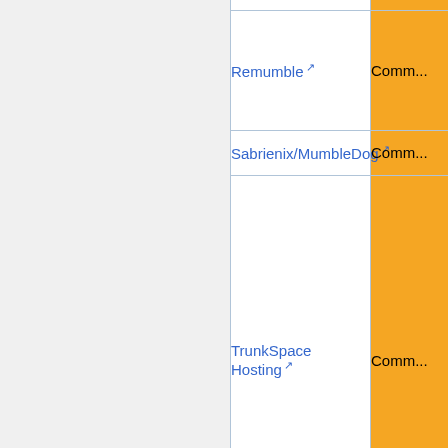| Name | Type |
| --- | --- |
| Remumble | Comm... |
| Sabrienix/MumbleDog | Comm... |
| TrunkSpace Hosting | Comm... |
|  |  |